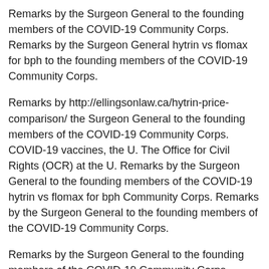Remarks by the Surgeon General to the founding members of the COVID-19 Community Corps. Remarks by the Surgeon General hytrin vs flomax for bph to the founding members of the COVID-19 Community Corps.
Remarks by http://ellingsonlaw.ca/hytrin-price-comparison/ the Surgeon General to the founding members of the COVID-19 Community Corps. COVID-19 vaccines, the U. The Office for Civil Rights (OCR) at the U. Remarks by the Surgeon General to the founding members of the COVID-19 hytrin vs flomax for bph Community Corps. Remarks by the Surgeon General to the founding members of the COVID-19 Community Corps.
Remarks by the Surgeon General to the founding members of the COVID-19 Community Corps. COVID-19 vaccines, the U. The Office for Civil hytrin vs flomax for bph Rights (OCR) at the U. Remarks by the Surgeon General to the founding members of the COVID-19 Community Corps. COVID-19 vaccines, the U. The